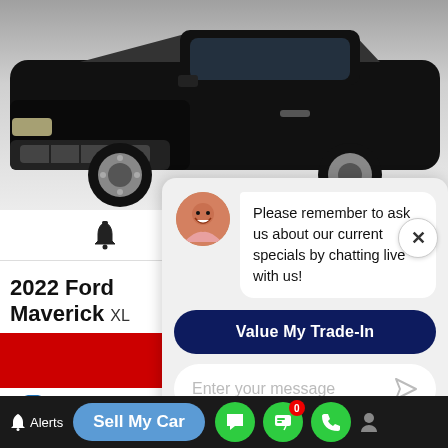[Figure (photo): Front view of a black 2022 Ford Maverick XL truck on a light background]
[Figure (screenshot): Car dealership website UI showing 2022 Ford Maverick XL listing with chat widget overlay. Chat bubble says 'Please remember to ask us about our current specials by chatting live with us!' with a Value My Trade-In button and Enter your message input. Bottom nav shows Sell My Car button and green icon buttons. Accessibility icon visible on left.]